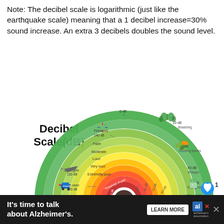Note: The decibel scale is logarithmic (just like the earthquake scale) meaning that a 1 decibel increase=30% sound increase. An extra 3 decibels doubles the sound level.
[Figure (infographic): Decibel Scale(dB) radial infographic showing concentric arcs color-coded from green (quiet) to dark red (painful). Labels include: 0 dB, 10 dB Breathing, 30 dB Rustling leaves, 40 dB Whisper, 40 dB Refrigerator, 50 dB Moderate rainfall, Faint, Moderate, Loud, Very loud, Extremely loud, Threshold of pain, 60 dB, 70 dB, 80 dB, 90 dB Faint, 100 dB helicopter, 110 dB trombone, 120 dB Police siren, 130 dB Jet engine, 140 dB Fireworks, 140 dB Threshold of pain. Icons include lungs, leaves, people whispering, refrigerator, umbrella/rain, police car, jet, fireworks, trombone player.]
It's time to talk about Alzheimer's. LEARN MORE